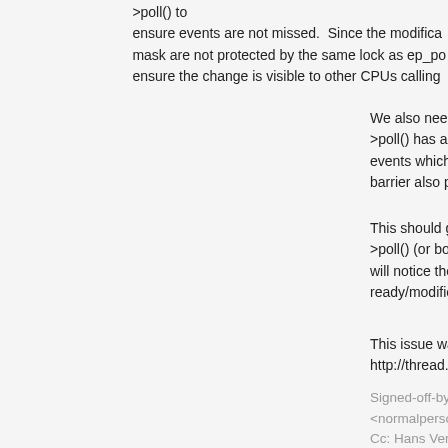>poll() to ensure events are not missed.  Since the modifica mask are not protected by the same lock as ep_po ensure the change is visible to other CPUs calling
We also need to ensure f_op->poll() has an up-to-date view of past events which occured before we modified the inte barrier also pairs with the barrier in wq_has_sleep
This should guarantee either ep_poll_callback or f >poll() (or both) will notice the readiness of a recently-ready/modified item.
This issue was encountered by Andreas Voellmy a http://thread.gmane.org/gmane.linux.kernel/14087
Signed-off-by: Eric Wong <normalperson@yhbt.net>
Cc: Hans Verkuil <hans.verkuil@cisco.com>
Cc: Jiri Olsa <jolsa@redhat.com>
Cc: Jonathan Corbet <corbet@lwn.net>
Cc: Al Viro <viro@zeniv.linux.org.uk>
Cc: Davide Libenzi <davidel@xmailserver.org>
Cc: Hans de Goede <hdegoede@redhat.com>
Cc: Mauro Carvalho Chehab <mchehab@infradead.org>
Cc: David Miller <davem@davemloft.net>